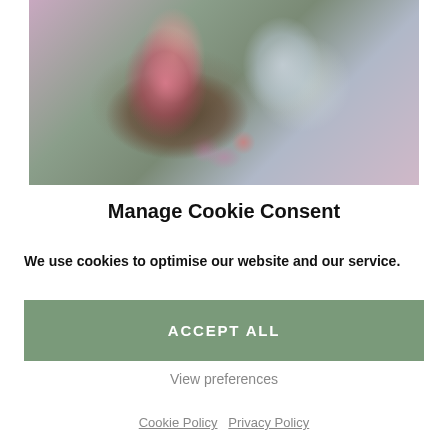[Figure (photo): Photo of crystals, a pink candle in a decorative wooden holder, and a clear plastic organizer box arranged on a purple/green patterned fabric background]
Manage Cookie Consent
We use cookies to optimise our website and our service.
ACCEPT ALL
View preferences
Cookie Policy   Privacy Policy